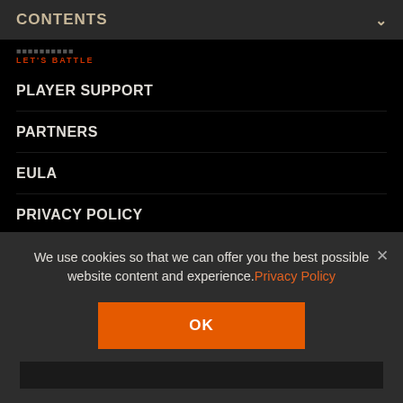CONTENTS
LET'S BATTLE
PLAYER SUPPORT
PARTNERS
EULA
PRIVACY POLICY
GAME RULES
CAREERS
DO NOT SELL MY PERSONAL INFORMATION
We use cookies so that we can offer you the best possible website content and experience. Privacy Policy
OK